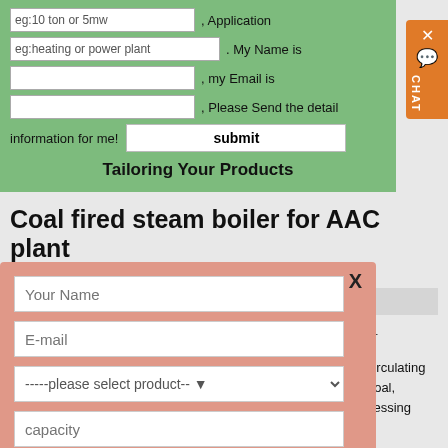[Figure (screenshot): Green background contact form with fields for Application, Name, Email, and a Submit button, plus 'Tailoring Your Products' heading]
[Figure (screenshot): Orange chat widget on the right side with X close button and chat bubble icon]
Coal fired steam boiler for AAC plant
autoclave, Coal Fired Boiler, steam
u // No Comment
oiler working principle,How ... nis page, ZG is a circulating flu Circulating Fluidized Bed (CFB) wide variety of fuels including: low-grade coal, biomass, sludge equipment in... clay flush sand coal shale processing equip...
[Figure (screenshot): Pink popup overlay contact form with fields: Your Name, E-mail, product select dropdown, capacity, and Submit button]